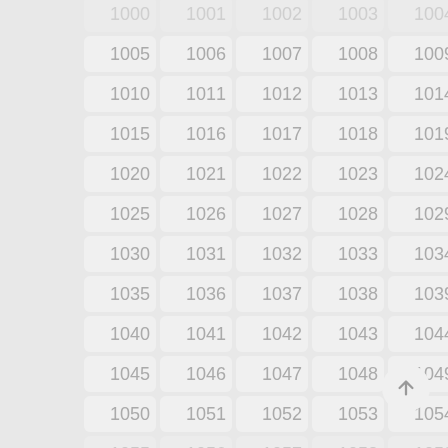[Figure (screenshot): A grid of numbered cells from 1005 to 1059 arranged in 5 columns and 12 rows, displayed in a mobile UI style with rounded rectangle cells on a light gray background. Numbers are displayed in gray text right-aligned within each cell. A circular scroll-to-top button with an up arrow is visible in the bottom right.]